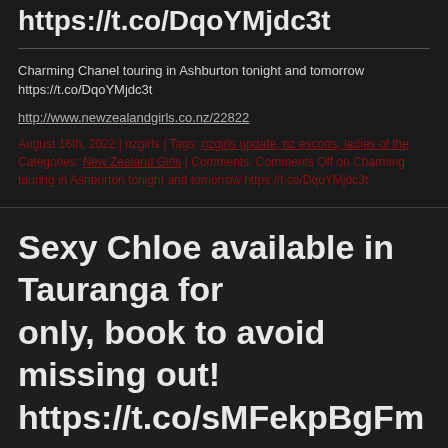https://t.co/DqoYMjdc3t
Charming Chanel touring in Ashburton tonight and tomorrow https://t.co/DqoYMjdc3t
http://www.newzealandgirls.co.nz/22822
August 16th, 2022 | nzgirls | Tags: nzgirls update, nz escorts, ladies of the... Categories: New Zealand Girls | Comments: Comments Off on Charming... touring in Ashburton tonight and tomorrow https://t.co/DqoYMjdc3t
Sexy Chloe available in Tauranga for only, book to avoid missing out! https://t.co/sMFekpBgFm